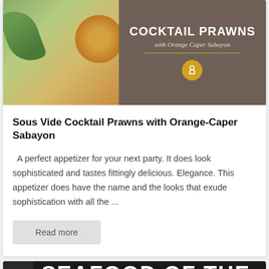[Figure (photo): Recipe card image: left half shows food photo (citrus and greens), right half is dark brown/taupe background with text 'SOUS VIDE COCKTAIL PRAWNS with Orange Caper Sabayon' and a chef icon badge]
Sous Vide Cocktail Prawns with Orange-Caper Sabayon
A perfect appetizer for your next party. It does look sophisticated and tastes fittingly delicious. Elegance. This appetizer does have the name and the looks that exude sophistication with all the ...
Read more
[Figure (other): Dark background card beginning with 'SEAFOOD OF THE MONTH CLUBS' in large bold white uppercase text, with a circular element on the left]